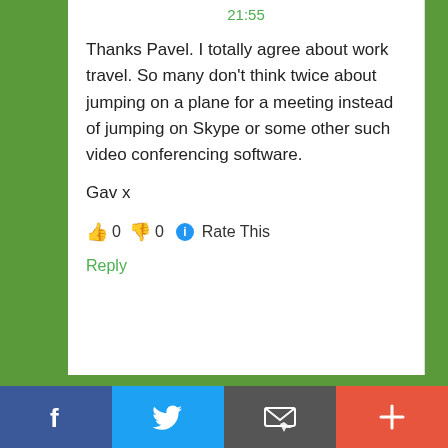21:55
Thanks Pavel. I totally agree about work travel. So many don't think twice about jumping on a plane for a meeting instead of jumping on Skype or some other such video conferencing software.
Gav x
👍 0 👎 0 ℹ Rate This
Reply
[Figure (other): Social sharing bar with Facebook, Twitter, email/print, and plus/add buttons]